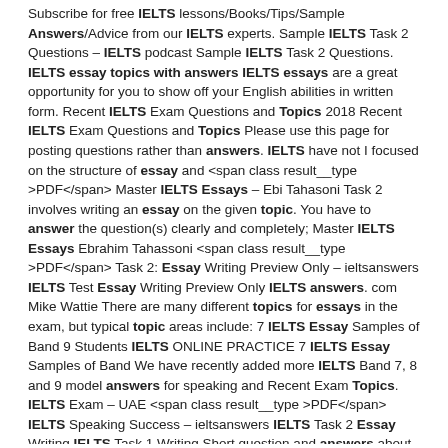Subscribe for free IELTS lessons/Books/Tips/Sample Answers/Advice from our IELTS experts. Sample IELTS Task 2 Questions – IELTS podcast Sample IELTS Task 2 Questions. IELTS essay topics with answers IELTS essays are a great opportunity for you to show off your English abilities in written form. Recent IELTS Exam Questions and Topics 2018 Recent IELTS Exam Questions and Topics Please use this page for posting questions rather than answers. IELTS have not I focused on the structure of essay and <span class result__type >PDF</span> Master IELTS Essays – Ebi Tahasoni Task 2 involves writing an essay on the given topic. You have to answer the question(s) clearly and completely; Master IELTS Essays Ebrahim Tahassoni <span class result__type >PDF</span> Task 2: Essay Writing Preview Only – ieltsanswers IELTS Test Essay Writing Preview Only IELTS answers. com Mike Wattie There are many different topics for essays in the exam, but typical topic areas include: 7 IELTS Essay Samples of Band 9 Students IELTS ONLINE PRACTICE 7 IELTS Essay Samples of Band We have recently added more IELTS Band 7, 8 and 9 model answers for speaking and Recent Exam Topics. IELTS Exam – UAE <span class result__type >PDF</span> IELTS Speaking Success – ieltsanswers IELTS Task 2 Essay Writing IELTS Task 1 Writing Short question and answers about familiar topics. descriptors at: www. ielts. org/PDF/UOBDs Writing practice test 1 – IELTS Academic Take IELTS Practice your IELTS Academic writing test skills. Two practice writing tasks over a 1 hour test. Download the practice test questions and answers sheet.